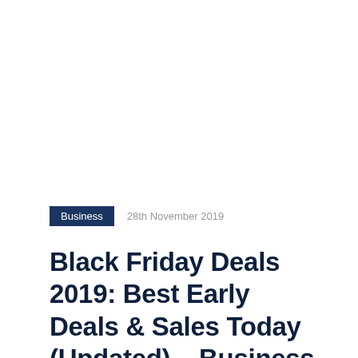Business   28th November 2019
Black Friday Deals 2019: Best Early Deals & Sales Today (Updated) – Business Insider